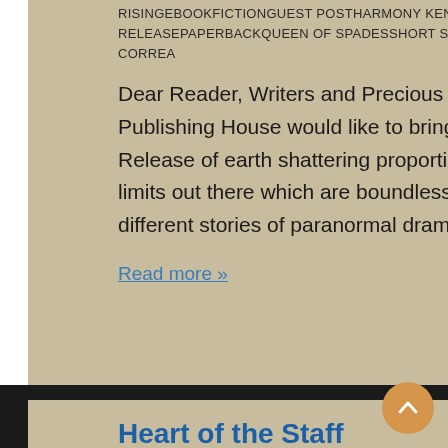RISINGEBOOKFICTIONGUEST POSTHARMONY KENTINDIESNEW BOOKNEW BOOK RELEASEPAPERBACKQUEEN OF SPADESSHORT STORIESSUPPORTING AUTHORSY CORREA
Dear Reader, Writers and Precious Patrons, All Authors Publishing House would like to bring you a Double Book Release of earth shattering proportions. Are there any limits out there which are boundless? Two characters, two different stories of paranormal drama, …
Read more »
Heart of the Staff